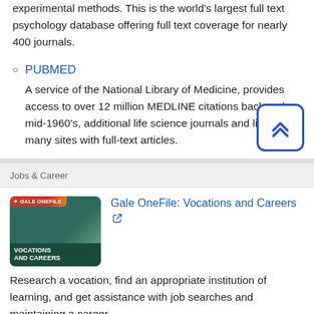experimental methods. This is the world's largest full text psychology database offering full text coverage for nearly 400 journals.
PUBMED - A service of the National Library of Medicine, provides access to over 12 million MEDLINE citations back to the mid-1960's, additional life science journals and links to many sites with full-text articles.
Jobs & Career
[Figure (logo): Gale OneFile: Vocations and Careers logo with person in hard hat]
Gale OneFile: Vocations and Careers - Research a vocation, find an appropriate institution of learning, and get assistance with job searches and maintaining a career.